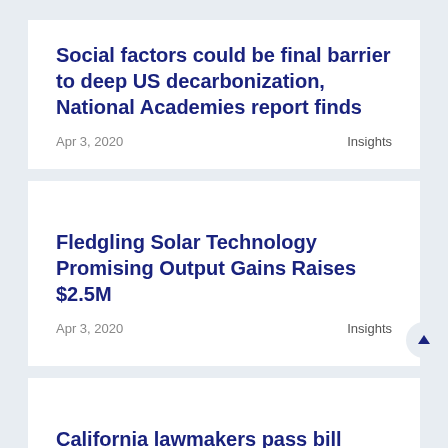Social factors could be final barrier to deep US decarbonization, National Academies report finds
Apr 3, 2020    Insights
Fledgling Solar Technology Promising Output Gains Raises $2.5M
Apr 3, 2020    Insights
California lawmakers pass bill laying the groundwork for West Coast offshore wind development